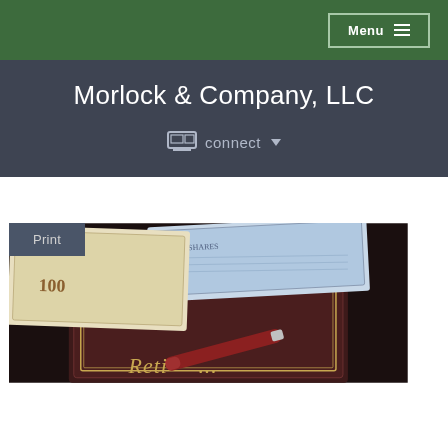Menu
Morlock & Company, LLC
connect
Print
[Figure (photo): Photo of a leather-bound retirement portfolio book with vintage stock certificates and a red pen, partially showing 'Reti...' text on the book cover]